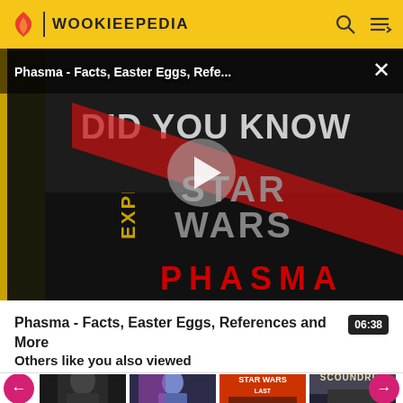WOOKIEEPEDIA
[Figure (screenshot): Star Wars Did You Know video thumbnail featuring Captain Phasma with text 'DID YOU KNOW', 'STAR WARS', 'PHASMA' and 'EXPLAINED' on left side. Play button in center. Title overlay reads 'Phasma - Facts, Easter Eggs, Refe...' with X close button.]
Phasma - Facts, Easter Eggs, References and More
Others like you also viewed
[Figure (photo): Row of related video thumbnails at bottom of page showing Star Wars related content including characters and 'SCOUNDREL' text visible on rightmost thumbnail]